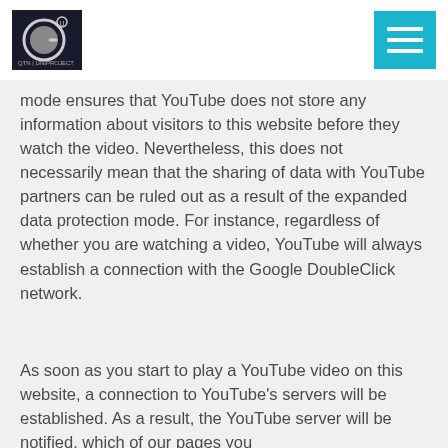QTN logo and menu button
mode ensures that YouTube does not store any information about visitors to this website before they watch the video. Nevertheless, this does not necessarily mean that the sharing of data with YouTube partners can be ruled out as a result of the expanded data protection mode. For instance, regardless of whether you are watching a video, YouTube will always establish a connection with the Google DoubleClick network.
As soon as you start to play a YouTube video on this website, a connection to YouTube's servers will be established. As a result, the YouTube server will be notified, which of our pages you